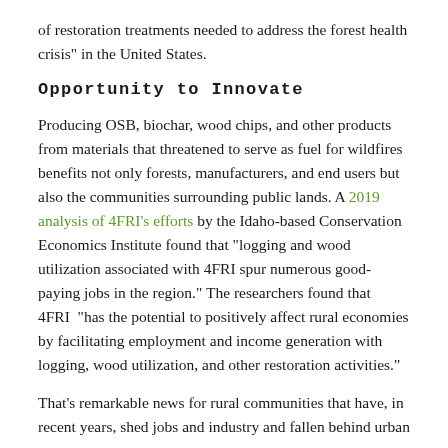of restoration treatments needed to address the forest health crisis” in the United States.
Opportunity to Innovate
Producing OSB, biochar, wood chips, and other products from materials that threatened to serve as fuel for wildfires benefits not only forests, manufacturers, and end users but also the communities surrounding public lands. A 2019 analysis of 4FRI’s efforts by the Idaho-based Conservation Economics Institute found that “logging and wood utilization associated with 4FRI spur numerous good-paying jobs in the region.” The researchers found that 4FRI “has the potential to positively affect rural economies by facilitating employment and income generation with logging, wood utilization, and other restoration activities.”
That’s remarkable news for rural communities that have, in recent years, shed jobs and industry and fallen behind urban